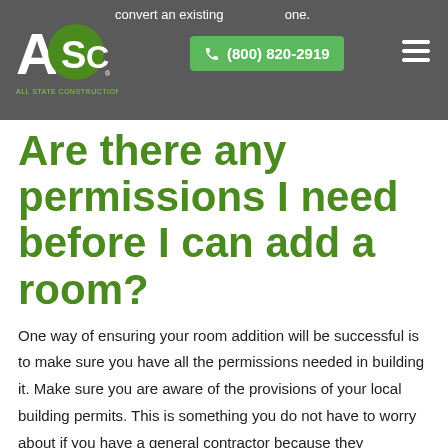convert an existing ... one.
[Figure (logo): All State Construction Inc. logo - white ASC letters on dark background with green accent]
(800) 820-2919
Are there any permissions I need before I can add a room?
One way of ensuring your room addition will be successful is to make sure you have all the permissions needed in building it. Make sure you are aware of the provisions of your local building permits. This is something you do not have to worry about if you have a general contractor because they